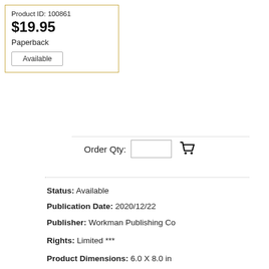Product ID: 100861
$19.95
Paperback
Available
Order Qty:
Status: Available
Publication Date: 2020/12/22
Publisher: Workman Publishing Co
Rights: Limited ***
Product Dimensions: 6.0 X 8.0 in
Page Count: 224 pg
Subject: